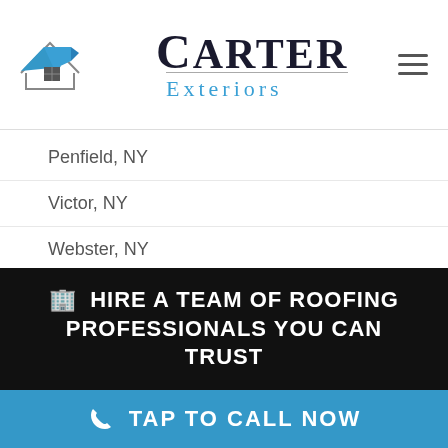[Figure (logo): Carter Exteriors logo with blue roof/house icon above the text CARTER Exteriors]
Penfield, NY
Victor, NY
Webster, NY
🏢 HIRE A TEAM OF ROOFING PROFESSIONALS YOU CAN TRUST
TAP TO CALL NOW